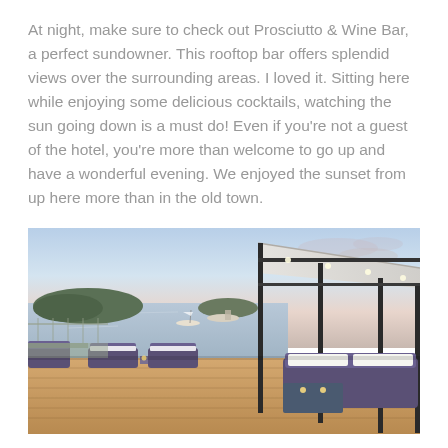At night, make sure to check out Prosciutto & Wine Bar, a perfect sundowner. This rooftop bar offers splendid views over the surrounding areas. I loved it. Sitting here while enjoying some delicious cocktails, watching the sun going down is a must do! Even if you're not a guest of the hotel, you're more than welcome to go up and have a wonderful evening. We enjoyed the sunset from up here more than in the old town.
[Figure (photo): Rooftop bar terrace at twilight with wooden deck, lounge furniture with white cushions, a canopy structure on the right, and a coastal bay view with boats on calm water, islands in the background, and a pastel pink and blue sky.]